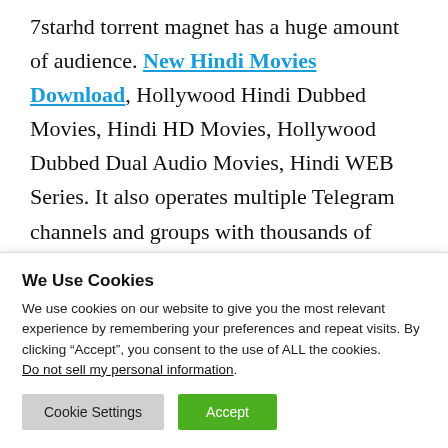7starhd torrent magnet has a huge amount of audience. New Hindi Movies Download, Hollywood Hindi Dubbed Movies, Hindi HD Movies, Hollywood Dubbed Dual Audio Movies, Hindi WEB Series. It also operates multiple Telegram channels and groups with thousands of subscribers. Tamilrockers Movies Download
We Use Cookies
We use cookies on our website to give you the most relevant experience by remembering your preferences and repeat visits. By clicking “Accept”, you consent to the use of ALL the cookies. Do not sell my personal information.